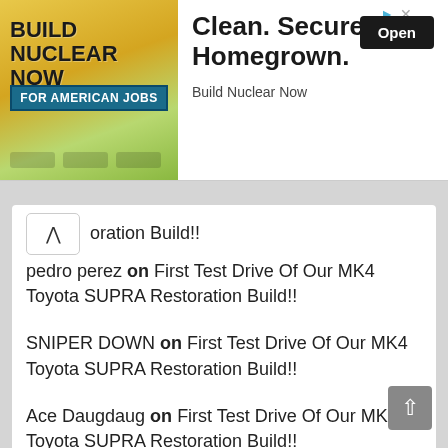[Figure (screenshot): Advertisement banner for 'Build Nuclear Now' — left side shows stylized nuclear/energy graphic with text 'BUILD NUCLEAR NOW FOR AMERICAN JOBS'; right side shows text 'Clean. Secure. Homegrown.' with an 'Open' button and subtitle 'Build Nuclear Now']
oration Build!!
pedro perez on First Test Drive Of Our MK4 Toyota SUPRA Restoration Build!!
SNIPER DOWN on First Test Drive Of Our MK4 Toyota SUPRA Restoration Build!!
Ace Daugdaug on First Test Drive Of Our MK4 Toyota SUPRA Restoration Build!!
popcorn jones on First Test Drive Of Our MK4 Toyota SUPRA Restoration Build!!